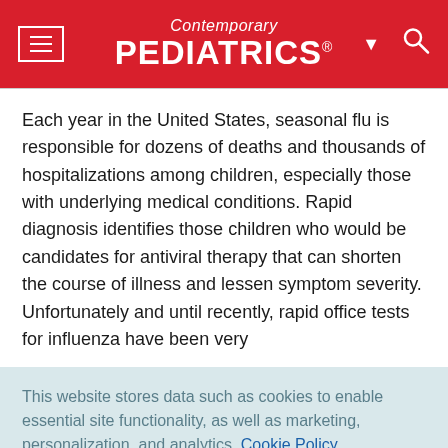Contemporary PEDIATRICS
Each year in the United States, seasonal flu is responsible for dozens of deaths and thousands of hospitalizations among children, especially those with underlying medical conditions. Rapid diagnosis identifies those children who would be candidates for antiviral therapy that can shorten the course of illness and lessen symptom severity. Unfortunately and until recently, rapid office tests for influenza have been very
This website stores data such as cookies to enable essential site functionality, as well as marketing, personalization, and analytics. Cookie Policy
Accept
Deny